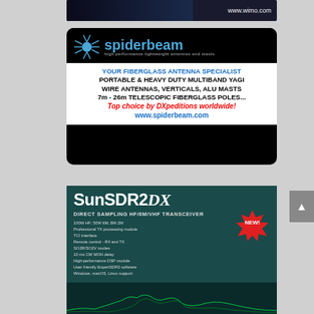[Figure (photo): WiMo advertisement banner showing radio equipment with www.wimo.com URL]
[Figure (photo): Spiderbeam advertisement on black background with spider logo and blue brand name. Text: YOUR FIBERGLASS ANTENNA SPECIALIST, PORTABLE & HEAVY DUTY MULTIBAND YAGI WIRE ANTENNAS, VERTICALS, ALU MASTS, 7m - 26m TELESCOPIC FIBERGLASS POLES..., Top choice by DXpeditions worldwide!, www.spiderbeam.com]
[Figure (photo): SunSDR2 DX advertisement on teal/dark background. DIRECT SAMPLING HF/6M/VHF TRANSCEIVER. Features: 100W HF; 50W 6M; 8W 2M, Professional TX processing module, TCI interface, Remote control - RX and TX, SO2R/SO2V modes, 10 ms CW MON delay, High-performance DSP module, User friendly ExpertSDR2 software, Windows, macOS, Linux support. NEW! badge shown.]